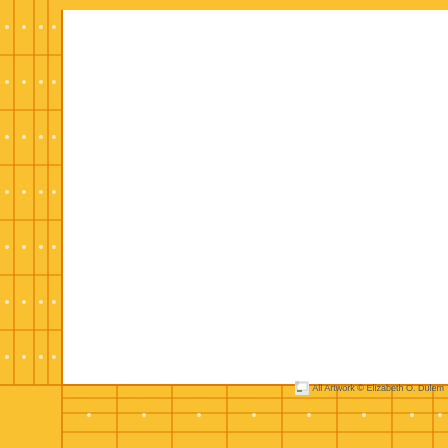[Figure (illustration): Decorative border with yellow/orange plaid checkered pattern along the left side and bottom of the page, with a white interior space. A small copyright notice reads 'All Artwork © Elizabeth O. Dulem' in the lower right area.]
All Artwork © Elizabeth O. Dulem